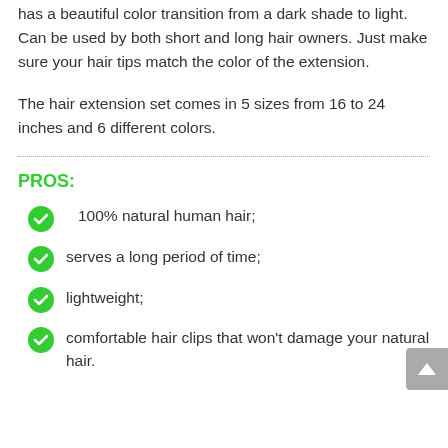has a beautiful color transition from a dark shade to light. Can be used by both short and long hair owners. Just make sure your hair tips match the color of the extension.
The hair extension set comes in 5 sizes from 16 to 24 inches and 6 different colors.
PROS:
100% natural human hair;
serves a long period of time;
lightweight;
comfortable hair clips that won't damage your natural hair.